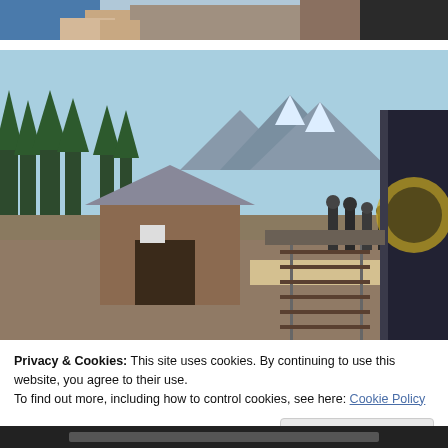[Figure (photo): Partial photo at top of page showing hands, possibly on a table, cropped]
[Figure (photo): Train station scene with a small brown shelter building, people boarding or waiting beside an Amtrak train, with pine trees and snow-capped mountains in the background on a sunny day]
Privacy & Cookies: This site uses cookies. By continuing to use this website, you agree to their use.
To find out more, including how to control cookies, see here: Cookie Policy
Close and accept